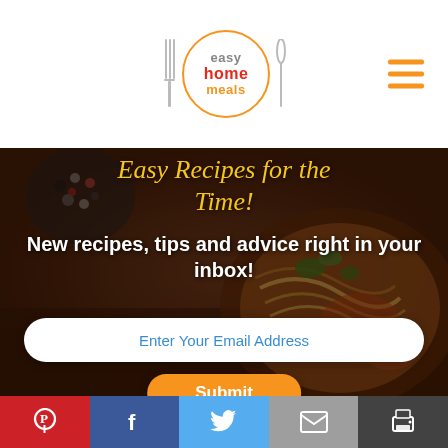[Figure (logo): Easy Home Meals logo with orange circle border, fork and knife icons on either side, text 'easy home meals' inside circle]
[Figure (photo): Food background image showing pasta dish with herbs and sauce on dark wooden table, overlaid with cursive yellow text 'Easy Recipes for the Time!']
Easy Recipes for the Time!
New recipes, tips and advice right in your inbox!
Enter Your Email Address
Submit
[Figure (infographic): Social media sharing bar with Pinterest (red), Facebook (blue), Twitter (light blue), Email (grey), and Print (dark grey) buttons]